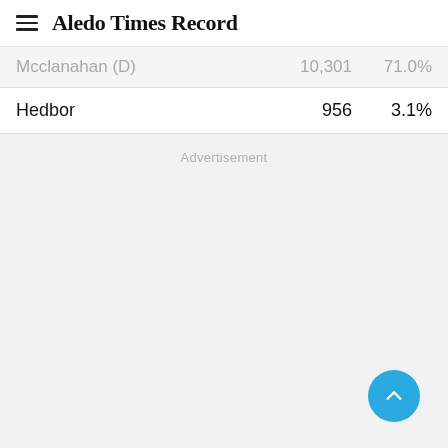Aledo Times Record
|  | Votes | Pct |
| --- | --- | --- |
| Mcclanahan (D) | 10,301 | 71.0% |
| Hedbor | 956 | 3.1% |
Advertisement